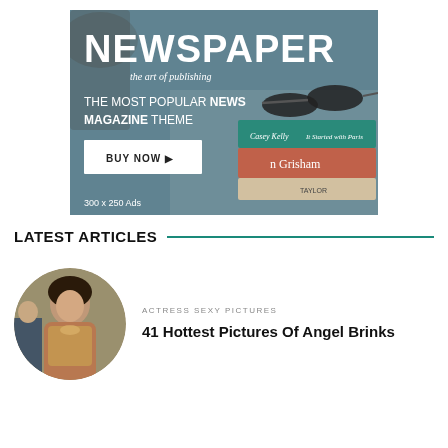[Figure (illustration): Advertisement banner for 'Newspaper - the art of publishing' theme. Shows background of beach/outdoor scene with stacked books and sunglasses. Text: NEWSPAPER, the art of publishing, THE MOST POPULAR NEWS MAGAZINE THEME, BUY NOW button, 300 x 250 Ads label.]
LATEST ARTICLES
[Figure (photo): Circular cropped photo of a woman, actress, wearing an ornate outfit.]
ACTRESS SEXY PICTURES
41 Hottest Pictures Of Angel Brinks